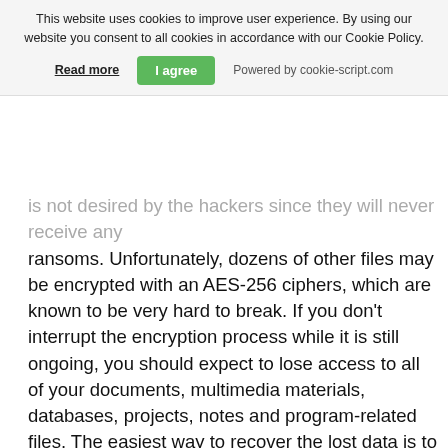This website uses cookies to improve user experience. By using our website you consent to all cookies in accordance with our Cookie Policy.
Read more | I agree | Powered by cookie-script.com
is not desired by the hackers since they will never receive any ransoms. Unfortunately, dozens of other files may be encrypted with an AES-256 ciphers, which are known to be very hard to break. If you don't interrupt the encryption process while it is still ongoing, you should expect to lose access to all of your documents, multimedia materials, databases, projects, notes and program-related files. The easiest way to recover the lost data is to unlock it with the original decryption key. Unfortunately, it may be easier said than done to get this tool for free. Once the encryption finishes, the only copy of the decryption key will be automatically sent towards the Command and Control (C&C) servers of the hackers. If the computer security experts manage to breach these servers, they may extract the decryption keys database and release it for free. Unfortunate, as of now, their efforts have not been successful.